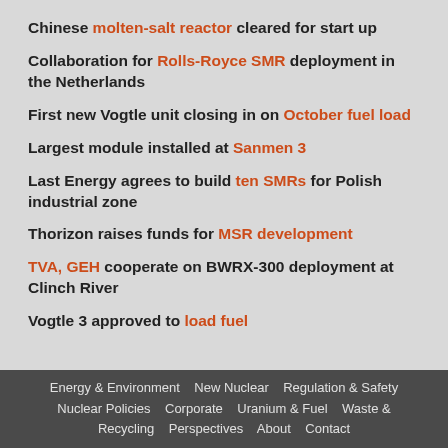Chinese molten-salt reactor cleared for start up
Collaboration for Rolls-Royce SMR deployment in the Netherlands
First new Vogtle unit closing in on October fuel load
Largest module installed at Sanmen 3
Last Energy agrees to build ten SMRs for Polish industrial zone
Thorizon raises funds for MSR development
TVA, GEH cooperate on BWRX-300 deployment at Clinch River
Vogtle 3 approved to load fuel
Energy & Environment   New Nuclear   Regulation & Safety   Nuclear Policies   Corporate   Uranium & Fuel   Waste & Recycling   Perspectives   About   Contact